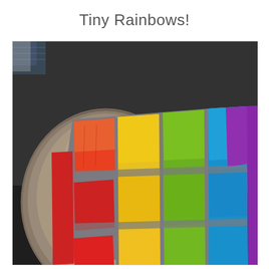Tiny Rainbows!
[Figure (photo): A quilted throw pillow with a rainbow color-block pattern (red, orange, yellow, green, blue, purple) on a gray chambray background, sitting on a dark gray sofa next to a taupe leather pillow and other cushions.]